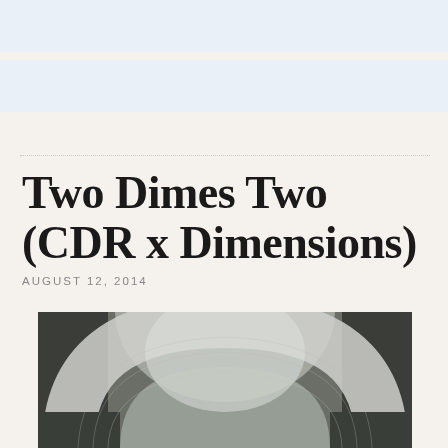Two Dimes Two (CDR x Dimensions)
AUGUST 12, 2014
[Figure (photo): Black and white photograph of a large stone or concrete arch, viewed from below, showing the curved arch structure against a lighter background. The image has a grainy, atmospheric quality.]